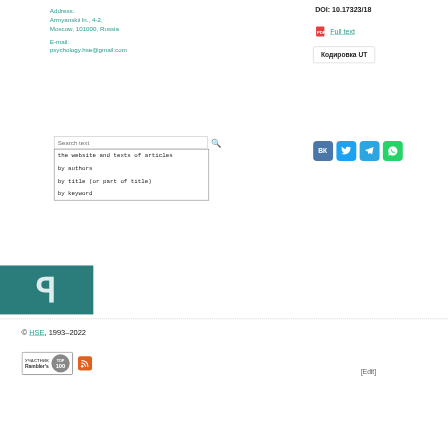Address:
Armyanskii ln., 4-2,
Moscow, 101000, Russia
E-mail:
psychology.hse@gmail.com
DOI: 10.17323/18
Full text
Кодировка UT
[Figure (screenshot): Search text input field with dropdown options: the website and texts of articles, by authors, by title (or part of title), by keyword]
[Figure (logo): Social sharing buttons: VK, Twitter, Telegram, WhatsApp]
[Figure (logo): Publisher logo - stylized R/H letter on teal background]
© HSE, 1993–2022
[Figure (logo): Rambler's Top 100 badge and RSS icon]
[Edit]